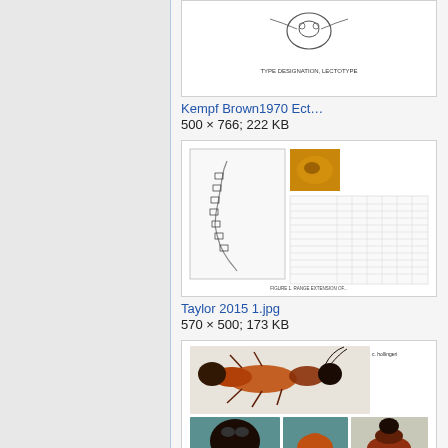[Figure (illustration): Scientific illustration of ant specimen from Kempf Brown 1970, pen and ink drawing with label text below]
Kempf Brown1970 Ect…
500 × 766; 222 KB
[Figure (illustration): Taylor 2015 figure 1 showing map with ant distribution and morphological data table with photo inset of amber specimen]
Taylor 2015 1.jpg
570 × 500; 173 KB
[Figure (photo): Color photographs of ant specimens showing multiple views: lateral full body, head frontal, petiole, and dorsal views on teal/blue background]